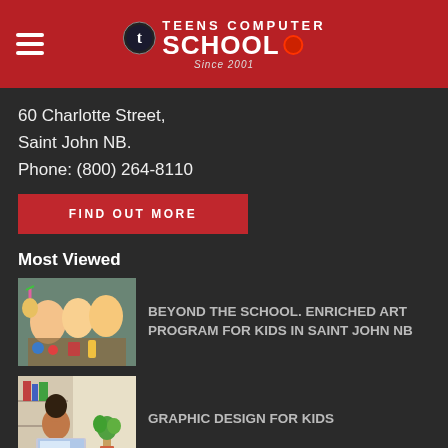Teens Computer School Since 2001
60 Charlotte Street,
Saint John NB.
Phone: (800) 264-8110
FIND OUT MORE
Most Viewed
[Figure (photo): Children doing art activities at a table with colorful art supplies]
BEYOND THE SCHOOL. ENRICHED ART PROGRAM FOR KIDS IN SAINT JOHN NB
[Figure (photo): Young girl working on a laptop at a desk with a plant nearby]
GRAPHIC DESIGN FOR KIDS
[Figure (photo): Purple background with yellow stars — digital design course image]
DIGITAL DESIGN AND